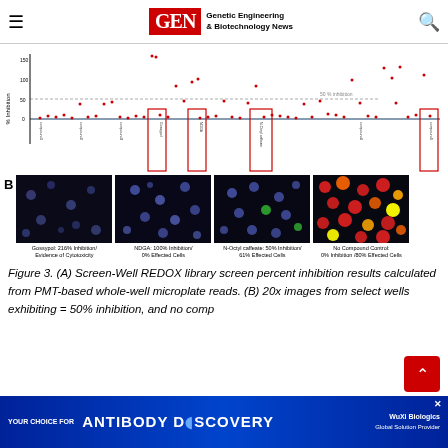GEN - Genetic Engineering & Biotechnology News
[Figure (continuous-plot): Scatter plot showing Screen-Well REDOX library screen percent inhibition results. Y-axis is % Inhibition (0 to 150+), x-axis shows compound names. Red dots scattered across the plot with some highlighted compounds boxed in red. A dashed horizontal line at ~50% inhibition is labeled '50 % inhibition'. Blue baseline at 0%.]
[Figure (photo): Panel B: Four fluorescence microscopy images side by side. Left: Gossypol 216% inhibition / Evidence of Cytotoxicity (mostly dark with faint blue dots). Second: NDGA 100% inhibition / 0% Effected Cells (dark with scattered blue dots). Third: N-Octyl caffeate 50% inhibition / 61% Effected Cells (dark with blue and green dots). Fourth: No Compound Control 0% inhibition / 80% Effected Cells (dark with many red/orange/yellow dots).]
Figure 3. (A) Screen-Well REDOX library screen percent inhibition results calculated from PMT-based whole-well microplate reads. (B) 20x images from select wells exhibiting = 50% inhibition, and no comp
[Figure (other): Advertisement banner: YOUR CHOICE FOR ANTIBODY DISCOVERY - WuXi Biologics]